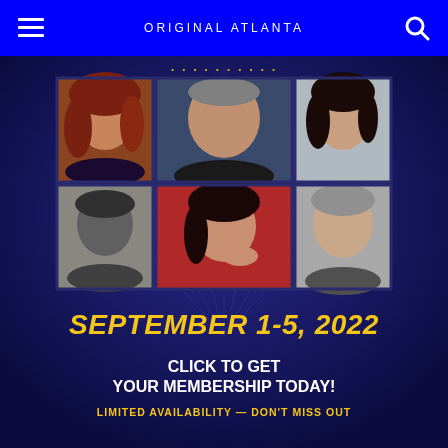ORIGINAL ATLANTA
[Figure (infographic): Convention advertisement showing a 2x3 grid of celebrity headshot photos above event date and membership call-to-action text on a dark blue starfield background]
SEPTEMBER 1-5, 2022
CLICK TO GET YOUR MEMBERSHIP TODAY!
LIMITED AVAILABILITY — DON'T MISS OUT